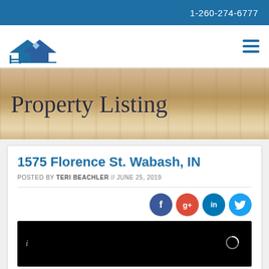1-260-274-6777
[Figure (logo): HDA real estate company logo with house icon in blue]
Property Listing
1575 Florence St. Wabash, IN
POSTED BY TERI BEACHLER // JUNE 25, 2019
[Figure (screenshot): Social media share icons: Facebook (blue), Google+ (red), LinkedIn (teal), Twitter (light blue)]
[Figure (photo): Black image area with info icon and loading spinner]